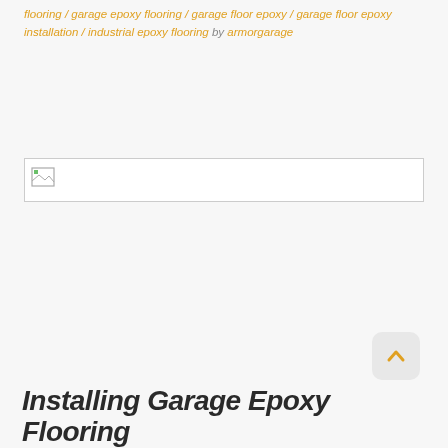flooring / garage epoxy flooring / garage floor epoxy / garage floor epoxy installation / industrial epoxy flooring by armorgarage
[Figure (photo): Broken/missing image placeholder with a small icon in the top-left corner]
Installing Garage Epoxy Flooring